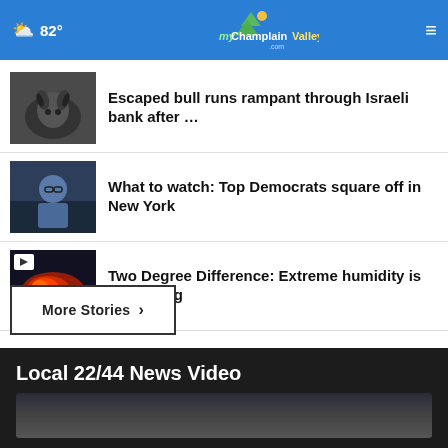82° myChamplainValley.com
Escaped bull runs rampant through Israeli bank after …
What to watch: Top Democrats square off in New York
Two Degree Difference: Extreme humidity is worsening
More Stories ▶
Local 22/44 News Video